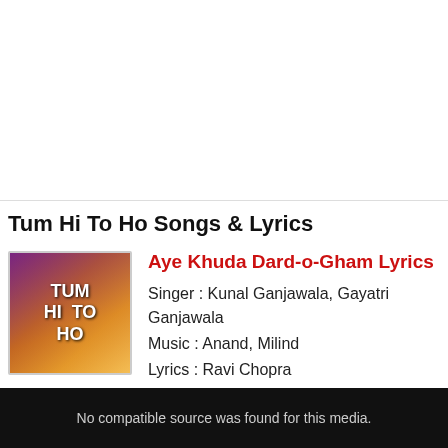Tum Hi To Ho Songs & Lyrics
[Figure (photo): Album cover for Tum Hi To Ho showing two people in purple/orange tones with the text TUM HI TO HO]
Aye Khuda Dard-o-Gham Lyrics
Singer : Kunal Ganjawala, Gayatri Ganjawala
Music : Anand, Milind
Lyrics : Ravi Chopra
No compatible source was found for this media.